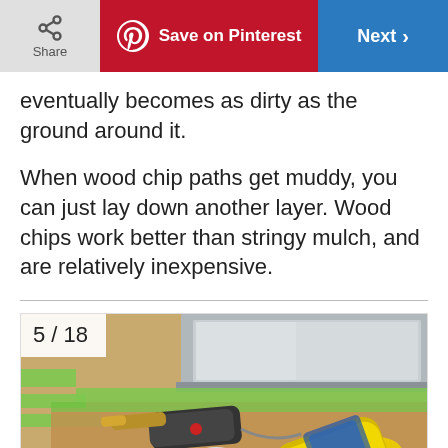Share | Save on Pinterest | Next
eventually becomes as dirty as the ground around it.
When wood chip paths get muddy, you can just lay down another layer. Wood chips work better than stringy mulch, and are relatively inexpensive.
[Figure (photo): Photo of soldering tools including a propane torch (yellow canister), solder rolls, and flux containers on a workbench near a stainless steel sink. Labeled 5/18.]